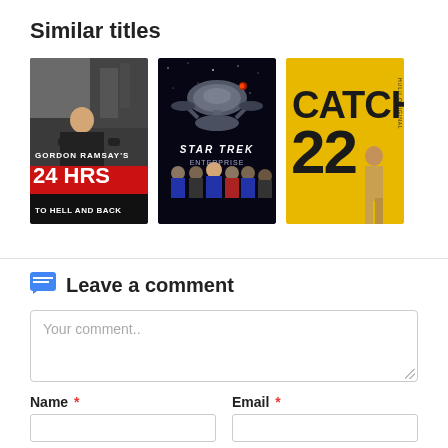Similar titles
[Figure (photo): Gordon Ramsay's 24 HRS To Hell and Back TV show poster]
[Figure (photo): Star Trek Enterprise TV show poster]
[Figure (photo): Catch 22 TV show poster]
Leave a comment
Your comment..
Name *
Email *